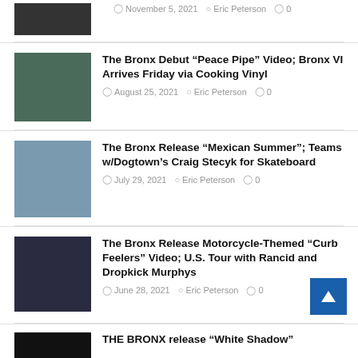[Figure (photo): Partial article thumbnail at top of page, dark image]
November 5, 2021  Eric Peterson  0
[Figure (photo): Band photo with members in dark shirts against a dark background]
The Bronx Debut “Peace Pipe” Video; Bronx VI Arrives Friday via Cooking Vinyl
August 25, 2021  Eric Peterson  0
[Figure (photo): Outdoor band photo with members in casual wear]
The Bronx Release “Mexican Summer”; Teams w/Dogtown’s Craig Stecyk for Skateboard
July 29, 2021  Eric Peterson  0
[Figure (photo): Dark industrial scene, motorcycle themed video still]
The Bronx Release Motorcycle-Themed “Curb Feelers” Video; U.S. Tour with Rancid and Dropkick Murphys
June 28, 2021  Eric Peterson  0
[Figure (photo): Dark thumbnail with blue/red lighting, White Shadow article]
THE BRONX release “White Shadow”